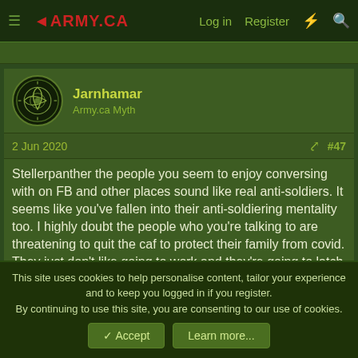≡ ARMY.CA   Log in   Register
Jarnhamar
Army.ca Myth
2 Jun 2020   #47
Stellerpanther the people you seem to enjoy conversing with on FB and other places sound like real anti-soldiers. It seems like you've fallen into their anti-soldiering mentality too. I highly doubt the people who you're talking to are threatening to quit the caf to protect their family from covid. They just don't like going to work and they're going to latch on to every reason they can not to go back to work.
This site uses cookies to help personalise content, tailor your experience and to keep you logged in if you register.
By continuing to use this site, you are consenting to our use of cookies.